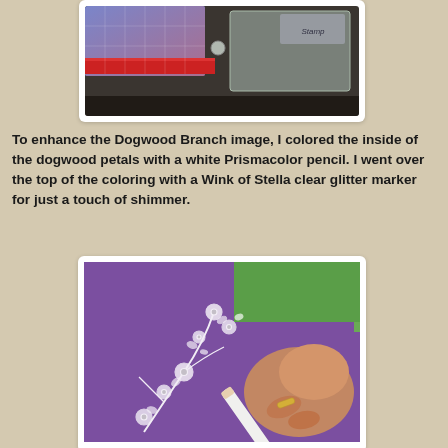[Figure (photo): Photo showing crafting supplies on a table — a blue/pink cutting mat, ruler, and clear acrylic stamp block with a label visible.]
To enhance the Dogwood Branch image, I colored the inside of the dogwood petals with a white Prismacolor pencil. I went over the top of the coloring with a Wink of Stella clear glitter marker for just a touch of shimmer.
[Figure (photo): Photo showing a hand using a white marker/pencil to color white dogwood branch stamped image on a purple card, with green card visible in background.]